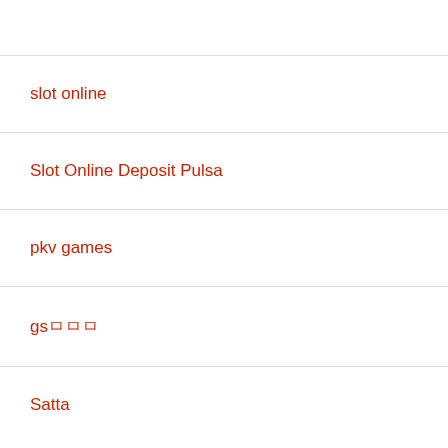slot online
Slot Online Deposit Pulsa
pkv games
gsㅁㅁㅁ
Satta